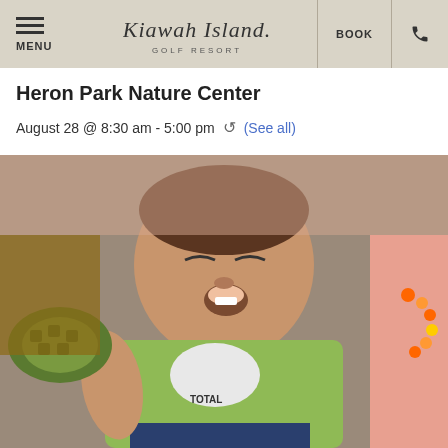Kiawah Island Golf Resort — Navigation: MENU | BOOK | Phone
Heron Park Nature Center
August 28 @ 8:30 am - 5:00 pm  (See all)
[Figure (photo): A smiling young boy in a green t-shirt with text 'TOTALLY' at a nature center, with a turtle visible on the left and another person wearing an orange beaded necklace on the right.]